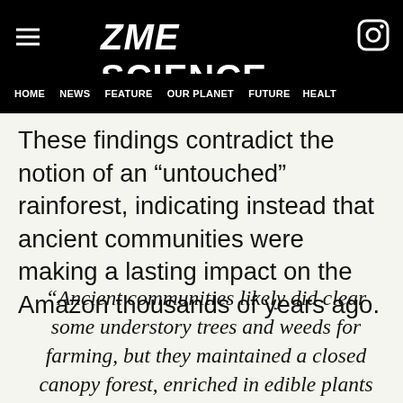ZME SCIENCE
HOME  NEWS  FEATURE  OUR PLANET  FUTURE  HEALT
These findings contradict the notion of an “untouched” rainforest, indicating instead that ancient communities were making a lasting impact on the Amazon thousands of years ago.
“Ancient communities likely did clear some understory trees and weeds for farming, but they maintained a closed canopy forest, enriched in edible plants which could bring them food.” Dr. Maezumi said in a statement.